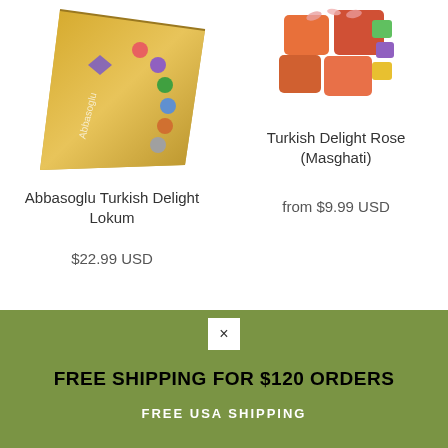[Figure (photo): Gold decorative box of Abbasoglu Turkish Delight Lokum with colorful candy pieces visible on the lid, angled view]
Abbasoglu Turkish Delight Lokum
$22.99 USD
[Figure (photo): Turkish Delight Rose (Masghati) pieces with rose petals and colorful jelly cubes, orange and pink colored]
Turkish Delight Rose (Masghati)
from $9.99 USD
[Figure (photo): Partial view of another Turkish delight product, beige/golden colored pieces]
×
FREE SHIPPING FOR $120 ORDERS
FREE USA SHIPPING